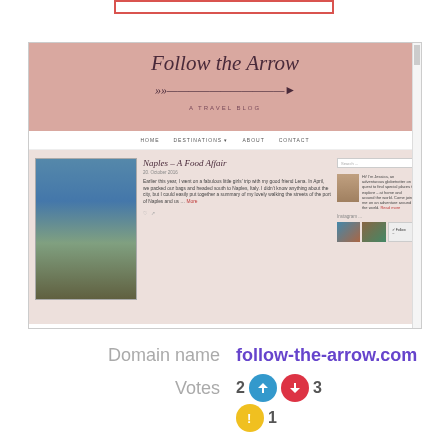[Figure (screenshot): Screenshot of a travel blog called 'Follow the Arrow - A Travel Blog' with pink/mauve header, navigation bar with HOME, DESTINATIONS, ABOUT, CONTACT links, and a blog post about Naples - A Food Affair with an image of a market/shop and sidebar with search box, profile photo and Instagram section.]
Domain name   follow-the-arrow.com
Votes   2 [thumbs up] 3 [thumbs down] 1 [warning]